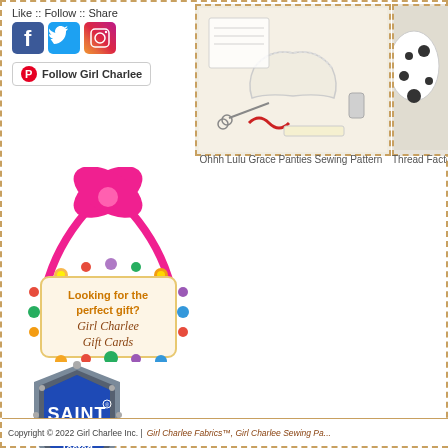Like :: Follow :: Share
[Figure (logo): Facebook, Twitter, and Instagram social media icons]
[Figure (logo): Pinterest Follow Girl Charlee button]
[Figure (illustration): Girl Charlee Gift Cards promotional banner with bow, flowers, text: Looking for the perfect gift? Girl Charlee Gift Cards]
[Figure (photo): Ohhh Lulu Grace Panties Sewing Pattern product photo]
Ohhh Lulu Grace Panties Sewing Pattern
[Figure (photo): Thread Factory product photo (partially visible)]
Thread Facto...
[Figure (logo): SAINT PCI Tested security badge shield logo]
Copyright © 2022 Girl Charlee Inc. | Girl Charlee Fabrics™, Girl Charlee Sewing Pa...